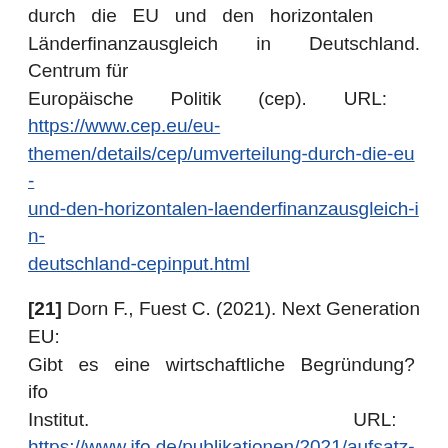durch die EU und den horizontalen Länderfinanzausgleich in Deutschland. Centrum für Europäische Politik (cep). URL: https://www.cep.eu/eu-themen/details/cep/umverteilung-durch-die-eu-und-den-horizontalen-laenderfinanzausgleich-in-deutschland-cepinput.html
[21] Dorn F., Fuest C. (2021). Next Generation EU: Gibt es eine wirtschaftliche Begründung? ifo Institut. URL: https://www.ifo.de/publikationen/2021/aufsatz-zeitschrift/corona-aufbauplan-bewaehrungsprobe-fuer-den-zusammenhalt-der
[22] Bundesbank (2021). TARGET2 – Balance. URL: https://www.bundesbank.de/en/tasks/payment-